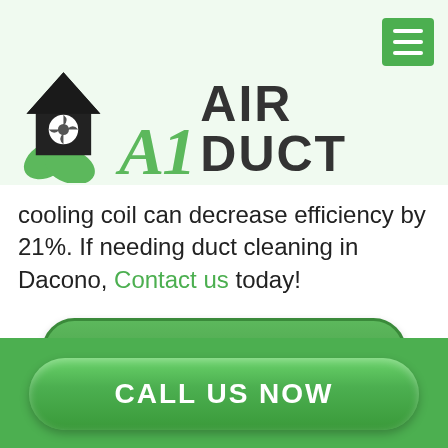[Figure (logo): A1 Air Duct company logo with house icon and green leaves, plus A1 in green italic script and AIR DUCT in bold dark text]
cooling coil can decrease efficiency by 21%. If needing duct cleaning in Dacono, Contact us today!
Air Duct Cleaning Service
CALL US NOW